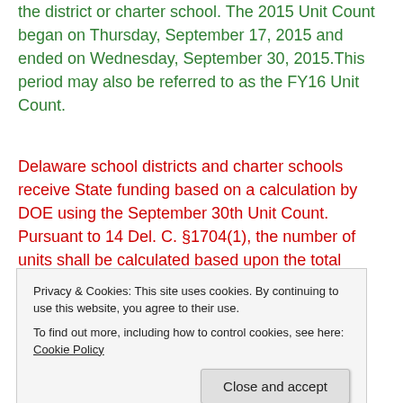the district or charter school. The 2015 Unit Count began on Thursday, September 17, 2015 and ended on Wednesday, September 30, 2015.This period may also be referred to as the FY16 Unit Count.
Delaware school districts and charter schools receive State funding based on a calculation by DOE using the September 30th Unit Count. Pursuant to 14 Del. C. §1704(1), the number of units shall be calculated based upon the total enrollment of pupils as of the last
Privacy & Cookies: This site uses cookies. By continuing to use this website, you agree to their use.
To find out more, including how to control cookies, see here: Cookie Policy
pupil enrollment on the last school day in